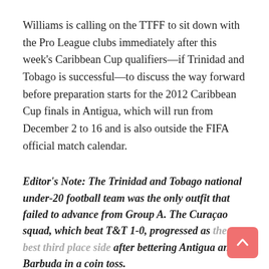Williams is calling on the TTFF to sit down with the Pro League clubs immediately after this week's Caribbean Cup qualifiers—if Trinidad and Tobago is successful—to discuss the way forward before preparation starts for the 2012 Caribbean Cup finals in Antigua, which will run from December 2 to 16 and is also outside the FIFA official match calendar.
Editor's Note: The Trinidad and Tobago national under-20 football team was the only outfit that failed to advance from Group A. The Curaçao squad, which beat T&T 1-0, progressed as the best third place side after bettering Antigua and Barbuda in a coin toss.
More from Wired868